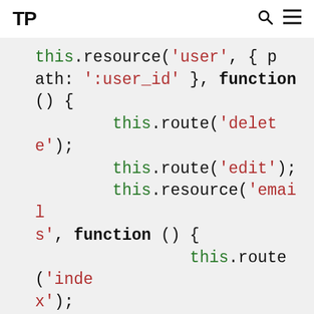TP [search icon] [menu icon]
this.resource('user', { path: ':user_id' }, function () {
    this.route('delete');
    this.route('edit');
    this.resource('emails', function () {
        this.route('index');
        this.route('add');
        this.resource('email', { path: ':email_id' }, function () {
            this.route('delete');